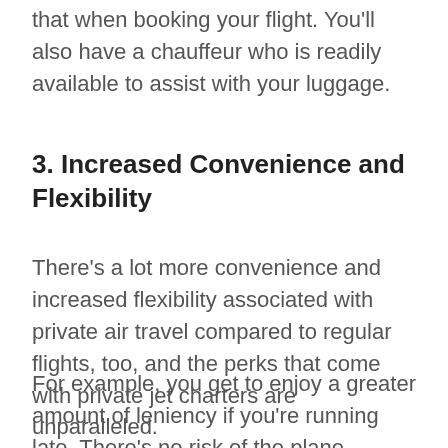that when booking your flight. You'll also have a chauffeur who is readily available to assist with your luggage.
3. Increased Convenience and Flexibility
There's a lot more convenience and increased flexibility associated with private air travel compared to regular flights, too, and the perks that come with private jet charters are unparalleled.
For example, you get to enjoy a greater amount of leniency if you're running late. There's no risk of the plane leaving without you.